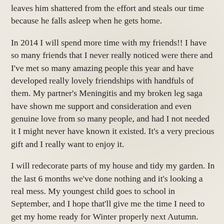leaves him shattered from the effort and steals our time because he falls asleep when he gets home.
In 2014 I will spend more time with my friends!! I have so many friends that I never really noticed were there and I've met so many amazing people this year and have developed really lovely friendships with handfuls of them. My partner's Meningitis and my broken leg saga have shown me support and consideration and even genuine love from so many people, and had I not needed it I might never have known it existed. It's a very precious gift and I really want to enjoy it.
I will redecorate parts of my house and tidy my garden. In the last 6 months we've done nothing and it's looking a real mess. My youngest child goes to school in September, and I hope that'll give me the time I need to get my home ready for Winter properly next Autumn.
Most of all I'm hoping for good health and an easier year than 2013, which was undoubtedly the most physically challenging year I've ever had. No sleep and masses to do every minute I was awake because everything takes twice as